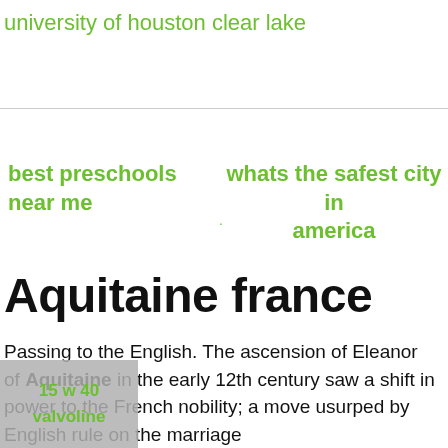university of houston clear lake
best preschools near me
whats the safest city in america
Aquitaine france
Passing to the English. The ascension of Eleanor of Aquitaine in the early 12th century saw a shift in power to the French nobility; a move usurped by English rule on the marriage
15 w 40
valvoline